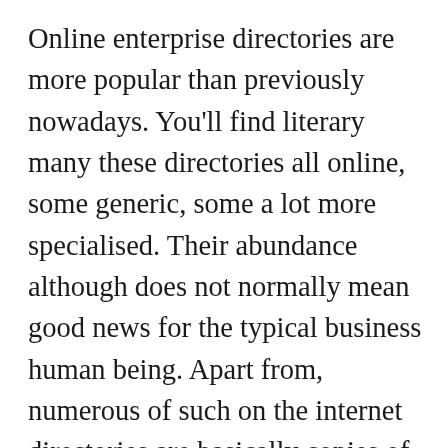Online enterprise directories are more popular than previously nowadays. You'll find literary many these directories all online, some generic, some a lot more specialised. Their abundance although does not normally mean good news for the typical business human being. Apart from, numerous of such on the internet directories are basically copies of one another, presenting little if any edge to their listed corporations. It gets crystal clear then that for an on-line Listing to be worth your time and cash, it's got to have the ability to present extra than simply a taxonomy of firms.